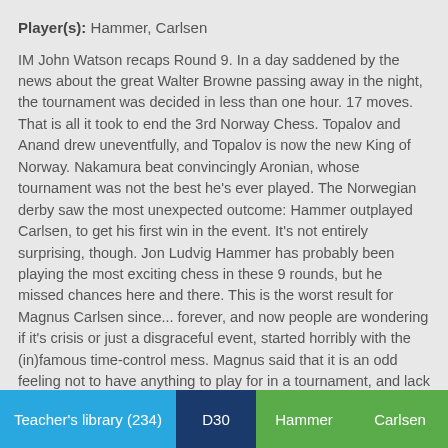Player(s): Hammer, Carlsen
IM John Watson recaps Round 9. In a day saddened by the news about the great Walter Browne passing away in the night, the tournament was decided in less than one hour. 17 moves. That is all it took to end the 3rd Norway Chess. Topalov and Anand drew uneventfully, and Topalov is now the new King of Norway. Nakamura beat convincingly Aronian, whose tournament was not the best he's ever played. The Norwegian derby saw the most unexpected outcome: Hammer outplayed Carlsen, to get his first win in the event. It's not entirely surprising, though. Jon Ludvig Hammer has probably been playing the most exciting chess in these 9 rounds, but he missed chances here and there. This is the worst result for Magnus Carlsen since... forever, and now people are wondering if it's crisis or just a disgraceful event, started horribly with the (in)famous time-control mess. Magnus said that it is an odd feeling not to have anything to play for in a tournament, and lack of motivation can well be a reason for not playing at one's best. We'll see. Congratulations to GM Veselin Topalov, who won a super-duper tournament after 5 years of fasting.
Teacher's library (234)
D30
Hammer
Carlsen